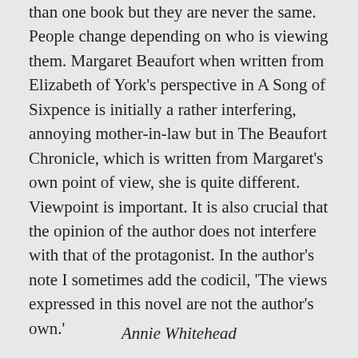than one book but they are never the same. People change depending on who is viewing them. Margaret Beaufort when written from Elizabeth of York's perspective in A Song of Sixpence is initially a rather interfering, annoying mother-in-law but in The Beaufort Chronicle, which is written from Margaret's own point of view, she is quite different. Viewpoint is important. It is also crucial that the opinion of the author does not interfere with that of the protagonist. In the author's note I sometimes add the codicil, 'The views expressed in this novel are not the author's own.'
Annie Whitehead